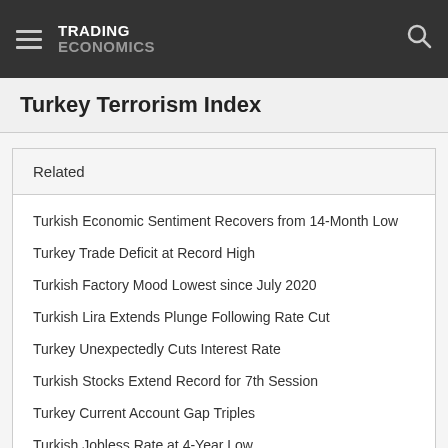TRADING ECONOMICS
Turkey Terrorism Index
Related
Turkish Economic Sentiment Recovers from 14-Month Low
Turkey Trade Deficit at Record High
Turkish Factory Mood Lowest since July 2020
Turkish Lira Extends Plunge Following Rate Cut
Turkey Unexpectedly Cuts Interest Rate
Turkish Stocks Extend Record for 7th Session
Turkey Current Account Gap Triples
Turkish Jobless Rate at 4-Year Low
Turkey Producer Inflation at Record High
Turkey Inflation Rate Hits 79.6% in July